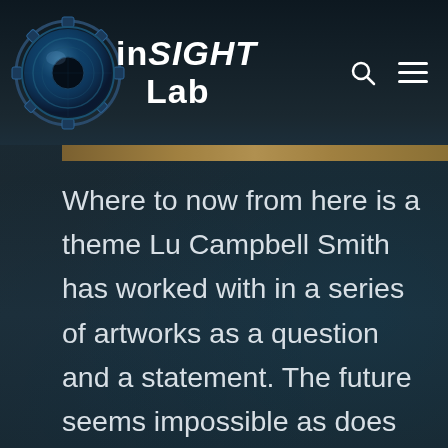inSIGHT Lab
[Figure (logo): inSIGHT Lab logo with a mechanical gear/camera lens icon on the left and the text 'inSIGHT Lab' on the right, with a search icon and hamburger menu icon in the top right corner]
Where to now from here is a theme Lu Campbell Smith has worked with in a series of artworks as a question and a statement. The future seems impossible as does the present, caught between the beautiful and unrelenting sky with its glowing clouds and bright sunset, or under